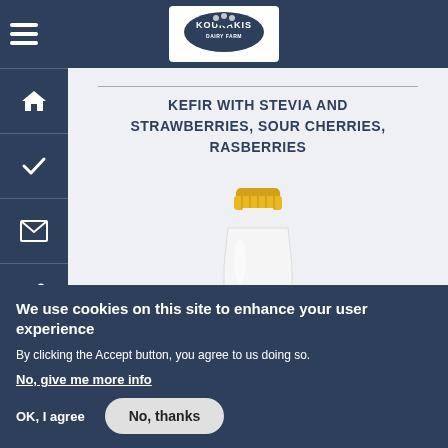KOUKAKIS
KEFIR WITH STEVIA AND STRAWBERRIES, SOUR CHERRIES, RASBERRIES
[Figure (photo): White plastic bottle with yellow/gold cap - kefir product]
We use cookies on this site to enhance your user experience
By clicking the Accept button, you agree to us doing so.
No, give me more info
OK, I agree
No, thanks